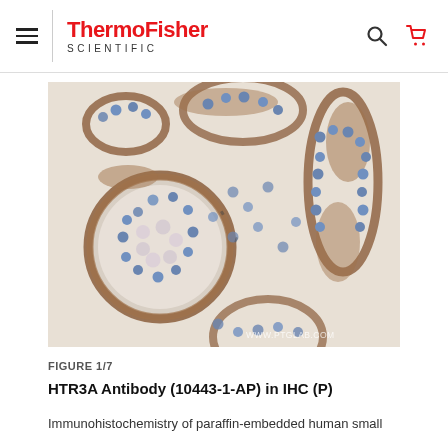ThermoFisher SCIENTIFIC
[Figure (photo): Immunohistochemistry microscopy image showing paraffin-embedded human small intestine tissue with HTR3A antibody staining. Brown DAB staining visible on epithelial cell borders, blue hematoxylin counterstain on nuclei. Circular and elongated intestinal crypt structures visible. Watermark: WWW.PTGLAB.COM]
FIGURE 1/7
HTR3A Antibody (10443-1-AP) in IHC (P)
Immunohistochemistry of paraffin-embedded human small